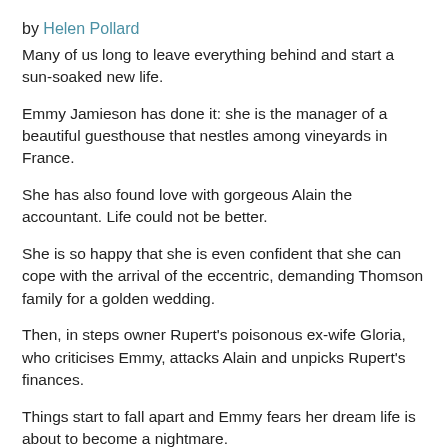by Helen Pollard
Many of us long to leave everything behind and start a sun-soaked new life.
Emmy Jamieson has done it: she is the manager of a beautiful guesthouse that nestles among vineyards in France.
She has also found love with gorgeous Alain the accountant. Life could not be better.
She is so happy that she is even confident that she can cope with the arrival of the eccentric, demanding Thomson family for a golden wedding.
Then, in steps owner Rupert's poisonous ex-wife Gloria, who criticises Emmy, attacks Alain and unpicks Rupert's finances.
Things start to fall apart and Emmy fears her dream life is about to become a nightmare.
Fans of Jenny Colgan, Lucy Diamond and Nick Alexander will be drawn to join Emmy among the vineyards.